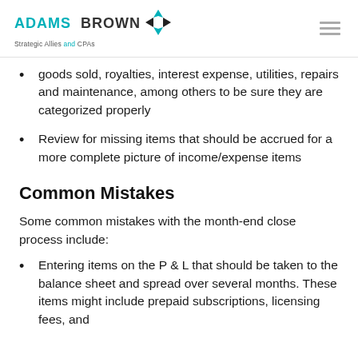ADAMS BROWN Strategic Allies and CPAs
goods sold, royalties, interest expense, utilities, repairs and maintenance, among others to be sure they are categorized properly
Review for missing items that should be accrued for a more complete picture of income/expense items
Common Mistakes
Some common mistakes with the month-end close process include:
Entering items on the P & L that should be taken to the balance sheet and spread over several months. These items might include prepaid subscriptions, licensing fees, and